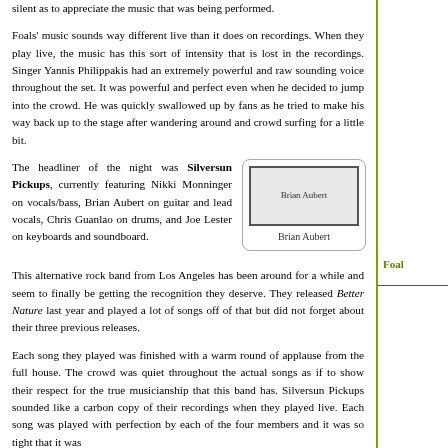silent as to appreciate the music that was being performed.
Foals' music sounds way different live than it does on recordings. When they play live, the music has this sort of intensity that is lost in the recordings. Singer Yannis Philippakis had an extremely powerful and raw sounding voice throughout the set. It was powerful and perfect even when he decided to jump into the crowd. He was quickly swallowed up by fans as he tried to make his way back up to the stage after wandering around and crowd surfing for a little bit.
The headliner of the night was Silversun Pickups, currently featuring Nikki Monninger on vocals/bass, Brian Aubert on guitar and lead vocals, Chris Guanlao on drums, and Joe Lester on keyboards and soundboard.
[Figure (photo): Photo of Brian Aubert]
Brian Aubert
This alternative rock band from Los Angeles has been around for a while and seem to finally be getting the recognition they deserve. They released Better Nature last year and played a lot of songs off of that but did not forget about their three previous releases.
Each song they played was finished with a warm round of applause from the full house. The crowd was quiet throughout the actual songs as if to show their respect for the true musicianship that this band has. Silversun Pickups sounded like a carbon copy of their recordings when they played live. Each song was played with perfection by each of the four members and it was so tight that it was